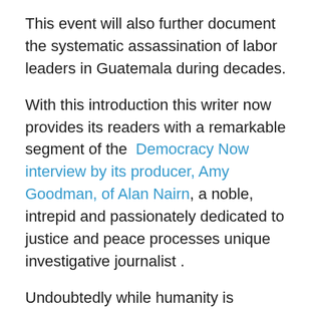This event will also further document the systematic assassination of labor leaders in Guatemala during decades.
With this introduction this writer now provides its readers with a remarkable segment of the Democracy Now interview by its producer, Amy Goodman, of Alan Nairn, a noble, intrepid and passionately dedicated to justice and peace processes unique investigative journalist .
Undoubtedly while humanity is witnessing extreme violence and turmoil almost everywhere, there is also the extremely welcomed evolution of a globalization of indignation, particularly by young people, against the industrial strength sins of the past which are damaging their rightful hopes for a prosperous, harmonious, and peaceful present and future.